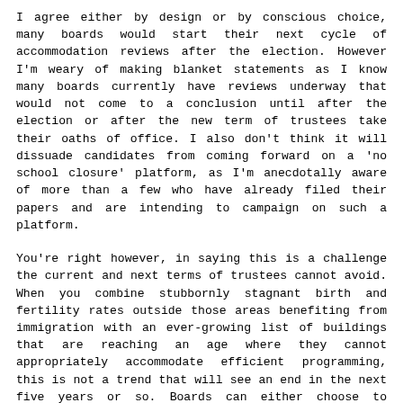I agree either by design or by conscious choice, many boards would start their next cycle of accommodation reviews after the election. However I'm weary of making blanket statements as I know many boards currently have reviews underway that would not come to a conclusion until after the election or after the new term of trustees take their oaths of office. I also don't think it will dissuade candidates from coming forward on a 'no school closure' platform, as I'm anecdotally aware of more than a few who have already filed their papers and are intending to campaign on such a platform.
You're right however, in saying this is a challenge the current and next terms of trustees cannot avoid. When you combine stubbornly stagnant birth and fertility rates outside those areas benefiting from immigration with an ever-growing list of buildings that are reaching an age where they cannot appropriately accommodate efficient programming, this is not a trend that will see an end in the next five years or so. Boards can either choose to maintain buildings at the cost of better programming, or make some difficult decisions and consolidate so they can reinvest in